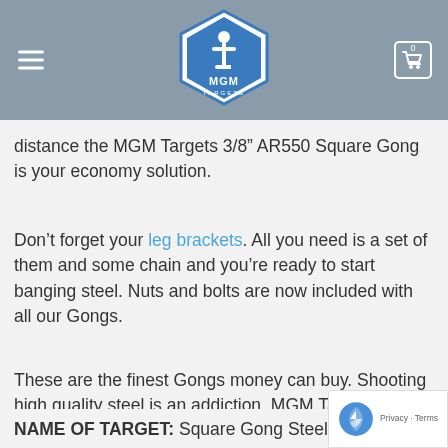MGM Targets header with logo, hamburger menu, and cart icon
distance the MGM Targets 3/8” AR550 Square Gong is your economy solution.
Don’t forget your leg brackets. All you need is a set of them and some chain and you’re ready to start banging steel. Nuts and bolts are now included with all our Gongs.
These are the finest Gongs money can buy. Shooting high quality steel is an addiction. MGM Targets is your dealer.
NAME OF TARGET: Square Gong Steel Target